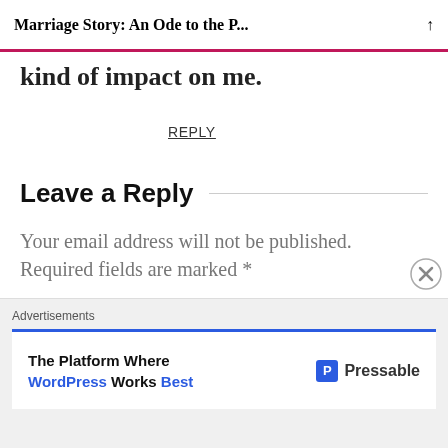Marriage Story: An Ode to the P...
kind of impact on me.
REPLY
Leave a Reply
Your email address will not be published. Required fields are marked *
Comment *
[Figure (screenshot): Comment text input box (empty)]
Advertisements
[Figure (screenshot): Advertisement banner: The Platform Where WordPress Works Best — Pressable]